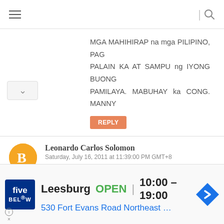☰ | 🔍
MGA MAHIHIRAP na mga PILIPINO, PAG PALAIN KA AT SAMPU ng IYONG BUONG PAMILAYA. MABUHAY ka CONG. MANNY
REPLY
Leonardo Carlos Solomon
Saturday, July 16, 2011 at 11:39:00 PM GMT+8
dito sa Cayman Islands may isang kilusan ang "BUKAS-PALAD" for PILIPINOS in CAYMAN (a NON-PROFIT MOVEMENT)na
[Figure (screenshot): Ad banner for Five Below store in Leesburg showing OPEN status, hours 10:00-19:00, and address 530 Fort Evans Road Northeast]